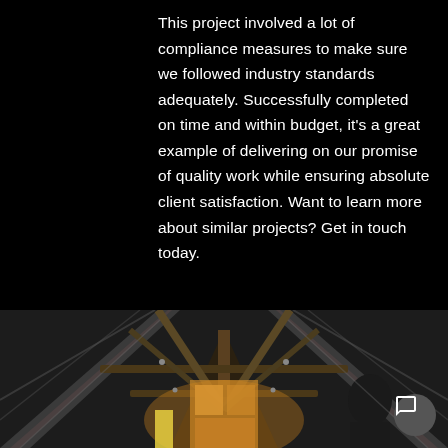This project involved a lot of compliance measures to make sure we followed industry standards adequately. Successfully completed on time and within budget, it's a great example of delivering on our promise of quality work while ensuring absolute client satisfaction. Want to learn more about similar projects? Get in touch today.
[Figure (photo): Interior construction photo showing wooden roof rafters and framing of a building under construction, with a triangular/gable roof structure visible from below, warm lighting from below illuminating the wooden beams]